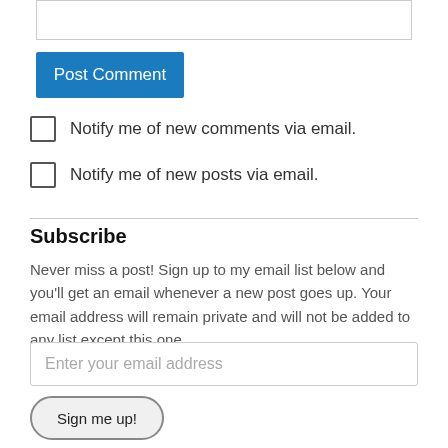[Figure (screenshot): Top portion of a textarea input box with light grey border]
Post Comment
Notify me of new comments via email.
Notify me of new posts via email.
Subscribe
Never miss a post! Sign up to my email list below and you'll get an email whenever a new post goes up. Your email address will remain private and will not be added to any list except this one.
Enter your email address
Sign me up!